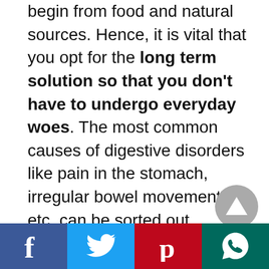begin from food and natural sources. Hence, it is vital that you opt for the long term solution so that you don't have to undergo everyday woes. The most common causes of digestive disorders like pain in the stomach, irregular bowel movements, etc. can be sorted out through these nature cures-
[Figure (other): Gray circular scroll-to-top button with upward triangle arrow]
[Figure (other): Social sharing bar with Facebook, Twitter, Pinterest, and WhatsApp buttons]